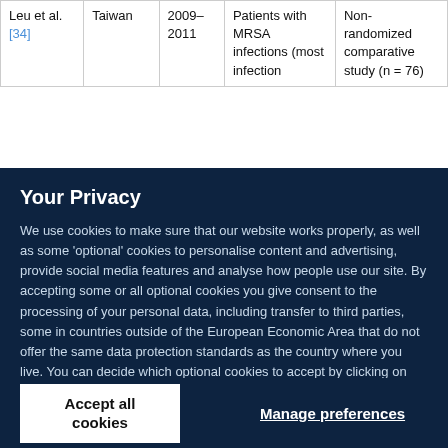| Author | Country | Year | Population | Study type |
| --- | --- | --- | --- | --- |
| Leu et al. [34] | Taiwan | 2009–2011 | Patients with MRSA infections (most infec... | Non-randomized comparative study (n = 76) |
Your Privacy
We use cookies to make sure that our website works properly, as well as some 'optional' cookies to personalise content and advertising, provide social media features and analyse how people use our site. By accepting some or all optional cookies you give consent to the processing of your personal data, including transfer to third parties, some in countries outside of the European Economic Area that do not offer the same data protection standards as the country where you live. You can decide which optional cookies to accept by clicking on 'Manage Settings', where you can also find more information about how your personal data is processed. Further information can be found in our privacy policy.
Accept all cookies
Manage preferences